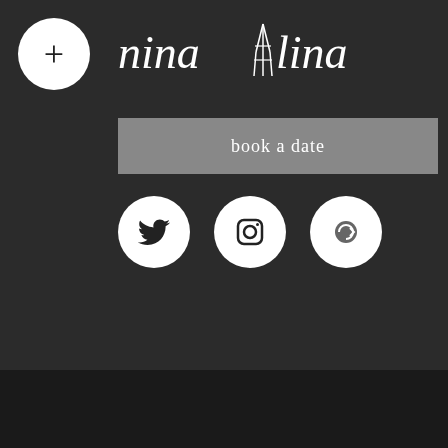[Figure (logo): NinALina logo with Eiffel tower accent in white script on dark background, plus a circular '+' button and 'book a date' button, and social media icons (Twitter, Instagram, Google+)]
ics in Paris, ember,
cozy scandi winters in Stockholm,
Musées
the Rijksmueum in Amsterdam, the Louvre in Paris, the museum of American History in DC, the museum of broken relationships in Zagreb
Parfum
Nina, Bella, ou Luna de Nina Ricci